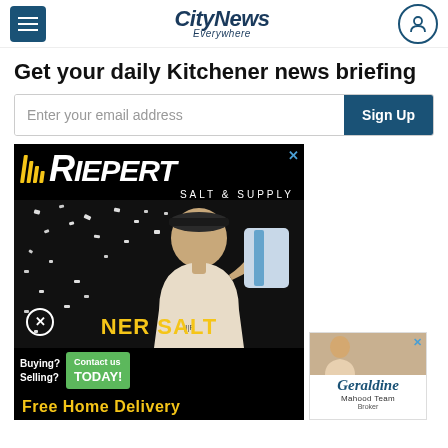CityNews Everywhere
Get your daily Kitchener news briefing
Enter your email address  Sign Up
[Figure (advertisement): Riepert Salt & Supply advertisement showing a man carrying a bag of salt with text 'NER SALT', 'Free Home Delivery', 'Buying? Selling? Contact us TODAY!' and Geraldine Mahood Team broker ad alongside]